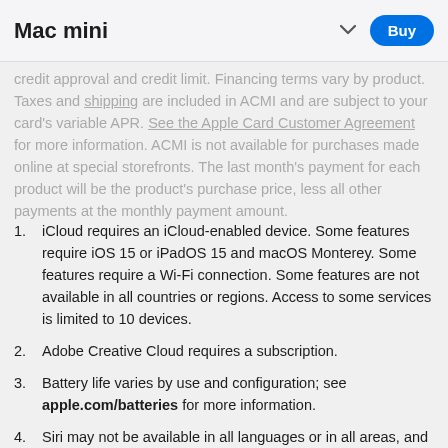Mac mini
credit approval and credit limit. Financing terms vary by product. Taxes and shipping are included in ACMI and are subject to your card's variable APR. See the Apple Card Customer Agreement for more information. ACMI is not available for purchases made online at special storefronts. The last month's payment for each product will be the product's purchase price, less all other payments at the monthly payment amount.
iCloud requires an iCloud-enabled device. Some features require iOS 15 or iPadOS 15 and macOS Monterey. Some features require a Wi-Fi connection. Some features are not available in all countries or regions. Access to some services is limited to 10 devices.
Adobe Creative Cloud requires a subscription.
Battery life varies by use and configuration; see apple.com/batteries for more information.
Siri may not be available in all languages or in all areas, and features may vary by area. Internet access required.
Apple Pay is not available in all markets. View Apple Pay countries and regions.
Family Sharing requires a personal Apple ID signed in to iCloud. Music, movies, TV shows, and books can be downloaded on up to 10 devices per account, five of which can be computers. iOS 8 or later and OS X Yosemite or later are required to set up or join a Family Sharing group and are recommended for full functionality. Not all content is eligible for Family Sharing. Content can be hidden by family members; hidden content is not available for download. Content downloaded from family members or acquired via...